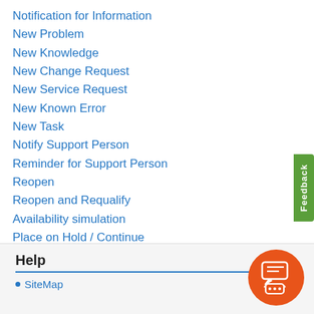Notification for Information
New Problem
New Knowledge
New Change Request
New Service Request
New Known Error
New Task
Notify Support Person
Reminder for Support Person
Reopen
Reopen and Requalify
Availability simulation
Place on Hold / Continue
❤ 0   Tags:
Created on 2022/05/28 10:54
Help
SiteMap